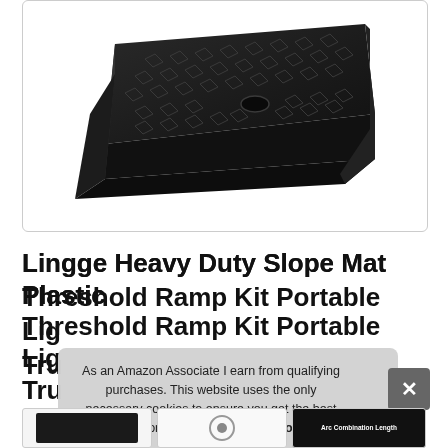[Figure (photo): Black heavy-duty rubber/plastic threshold ramp product photo on white background, showing diamond-pattern textured surface top]
Lingge Heavy Duty Slope Mat Plastic Threshold Ramp Kit Portable Lightweight Truck Ramp
As an Amazon Associate I earn from qualifying purchases. This website uses the only necessary cookies to ensure you get the best experience on our website. More information